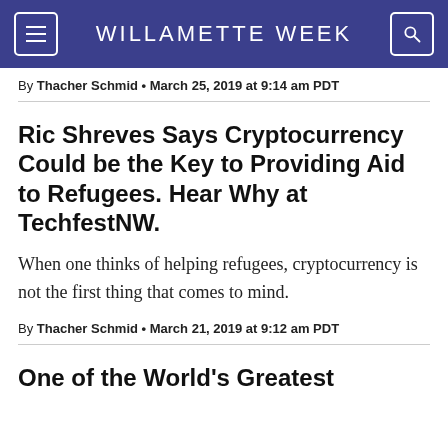WILLAMETTE WEEK
By Thacher Schmid • March 25, 2019 at 9:14 am PDT
Ric Shreves Says Cryptocurrency Could be the Key to Providing Aid to Refugees. Hear Why at TechfestNW.
When one thinks of helping refugees, cryptocurrency is not the first thing that comes to mind.
By Thacher Schmid • March 21, 2019 at 9:12 am PDT
One of the World's Greatest